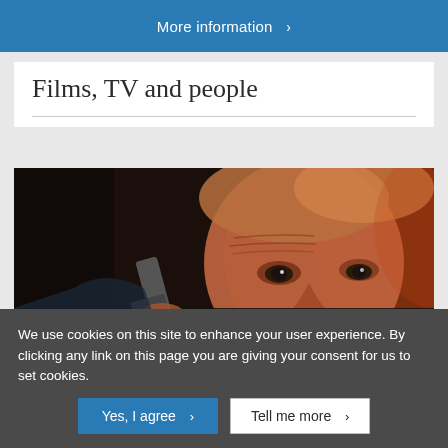More information >
Films, TV and people
[Figure (photo): Close-up photo of a man with short blonde/reddish hair holding a gun near his face, dramatic lighting with dark background]
We use cookies on this site to enhance your user experience. By clicking any link on this page you are giving your consent for us to set cookies.
Yes, I agree > Tell me more >